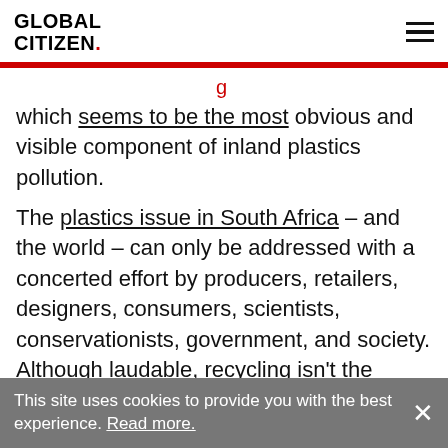GLOBAL CITIZEN. [hamburger menu icon]
which seems to be the most obvious and visible component of inland plastics pollution.
The plastics issue in South Africa – and the world – can only be addressed with a concerted effort by producers, retailers, designers, consumers, scientists, conservationists, government, and society. Although laudable, recycling isn't the complete solution. More is needed.
Related Stories
This site uses cookies to provide you with the best experience. Read more.